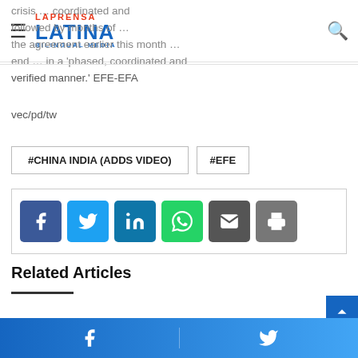La Prensa Latina Bilingual Media
crisis … coordinated and followed by months of … the agreement earlier this month … end … in a 'phased, coordinated and verified manner.' EFE-EFA
vec/pd/tw
#CHINA INDIA (ADDS VIDEO)  #EFE
[Figure (infographic): Social share buttons: Facebook (blue), Twitter (light blue), LinkedIn (teal), WhatsApp (green), Email (dark grey), Print (grey)]
Related Articles
Facebook and Twitter share bar at bottom